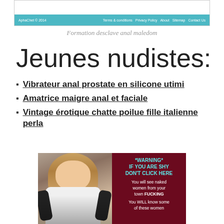[Figure (screenshot): Screenshot of a website footer bar with teal background showing copyright text and navigation links]
Formation desclave anal maledom
Jeunes nudistes:
Vibrateur anal prostate en silicone utimi
Amatrice maigre anal et faciale
Vintage érotique chatte poilue fille italienne perla
[Figure (photo): Advertisement image showing a young woman on the left half and a dark red warning panel on the right with text '*WARNING* IF YOU ARE SHY DON'T CLICK HERE You will see naked women from your town FUCKING You WILL know some of these women']